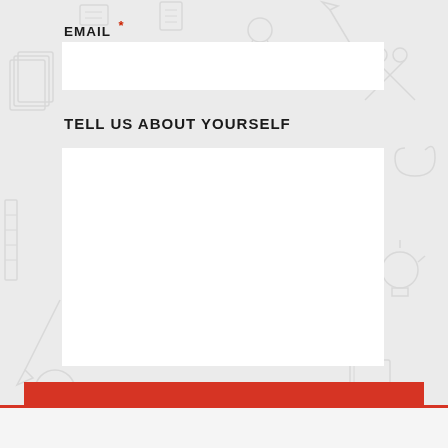EMAIL *
[Figure (other): Empty email input field (white rectangle)]
TELL US ABOUT YOURSELF
[Figure (other): Large empty textarea input field (white rectangle)]
SUBMIT
[Figure (other): Bottom strip with red left border accent]